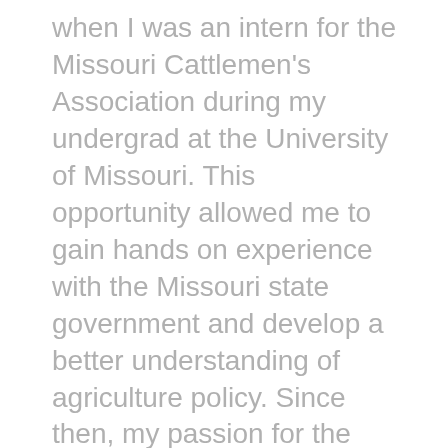when I was an intern for the Missouri Cattlemen's Association during my undergrad at the University of Missouri. This opportunity allowed me to gain hands on experience with the Missouri state government and develop a better understanding of agriculture policy. Since then, my passion for the government has followed me to graduate school as I work directly with the Department of Agriculture's policy coordinator.
Q: What's something people might be surprised to know about you?
A: I play the drums in a band back at